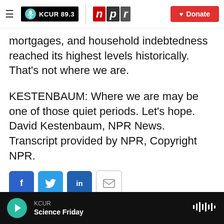KCUR 89.3 | npr  Donate
mortgages, and household indebtedness reached its highest levels historically. That's not where we are.
KESTENBAUM: Where we are may be one of those quiet periods. Let's hope. David Kestenbaum, NPR News. Transcript provided by NPR, Copyright NPR.
[Figure (infographic): Social share buttons: Facebook, Twitter, LinkedIn, Email]
[Figure (illustration): Small line chart icon representing David Kestenbaum author profile]
David Kestenbaum
KCUR Science Friday (audio player bar)